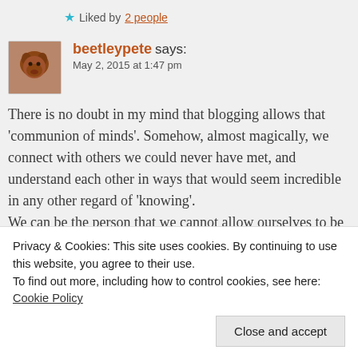★ Liked by 2 people
beetleypete says:
May 2, 2015 at 1:47 pm
There is no doubt in my mind that blogging allows that 'communion of minds'. Somehow, almost magically, we connect with others we could never have met, and understand each other in ways that would seem incredible in any other regard of 'knowing'.
We can be the person that we cannot allow ourselves to be in the real (as opposed to electronic) world. By choosing our companions carefully, we can enrich our lives. And as
Privacy & Cookies: This site uses cookies. By continuing to use this website, you agree to their use.
To find out more, including how to control cookies, see here: Cookie Policy
Close and accept